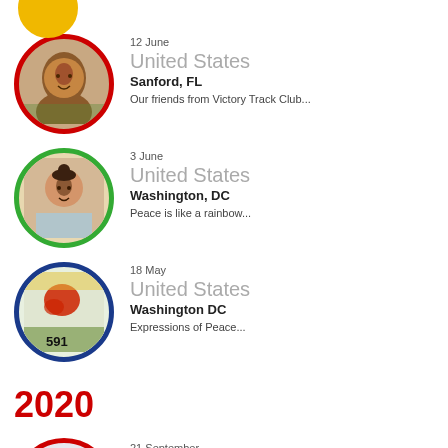[Figure (photo): Partial yellow circle avatar at top of page]
12 June | United States | Sanford, FL | Our friends from Victory Track Club...
3 June | United States | Washington, DC | Peace is like a rainbow...
18 May | United States | Washington DC | Expressions of Peace...
2020
21 September | United States